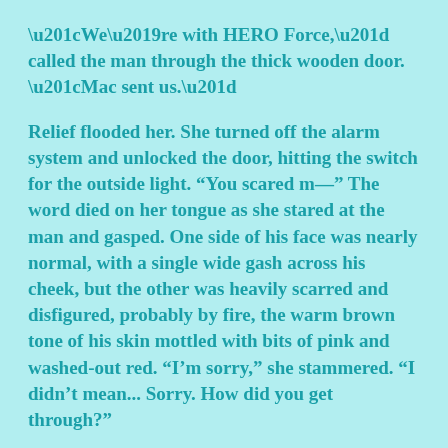“We’re with HERO Force,” called the man through the thick wooden door. “Mac sent us.”
Relief flooded her. She turned off the alarm system and unlocked the door, hitting the switch for the outside light. “You scared m—” The word died on her tongue as she stared at the man and gasped. One side of his face was nearly normal, with a single wide gash across his cheek, but the other was heavily scarred and disfigured, probably by fire, the warm brown tone of his skin mottled with bits of pink and washed-out red. “I’m sorry,” she stammered. “I didn’t mean... Sorry. How did you get through?”
“We walked the last few miles. I’m Ian Rhodes. This is Sloan Dvorak.”